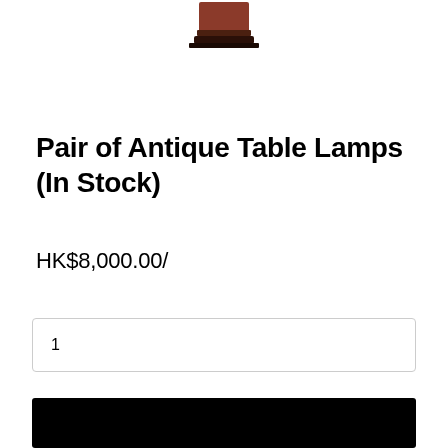[Figure (photo): Partial top view of an antique table lamp with a dark reddish-brown base on a black stand, cropped at the top of the page]
Pair of Antique Table Lamps (In Stock)
HK$8,000.00/
1
[Figure (photo): Black rectangular button/banner at the bottom of the page, partially visible]